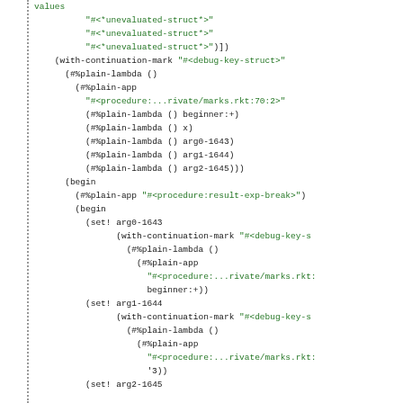Code listing showing Racket internal representation with with-continuation-mark, #%plain-lambda, #%plain-app, begin, set!, and nested expressions with unevaluated-struct and procedure references.